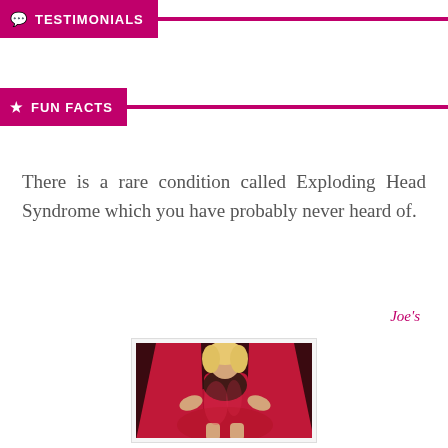TESTIMONIALS
FUN FACTS
There is a rare condition called Exploding Head Syndrome which you have probably never heard of.
Joe's
[Figure (photo): Woman wearing red lingerie and matching robe, standing pose, blonde hair, dark background]